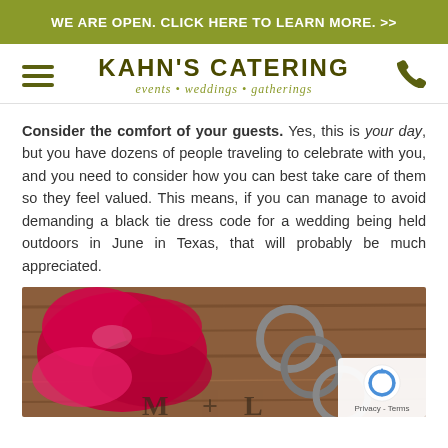WE ARE OPEN. CLICK HERE TO LEARN MORE. >>
KAHN'S CATERING events • weddings • gatherings
Consider the comfort of your guests. Yes, this is your day, but you have dozens of people traveling to celebrate with you, and you need to consider how you can best take care of them so they feel valued. This means, if you can manage to avoid demanding a black tie dress code for a wedding being held outdoors in June in Texas, that will probably be much appreciated.
[Figure (photo): Photo of wedding rings and a red rose petal on a wooden surface with letters M and L visible in the lower portion]